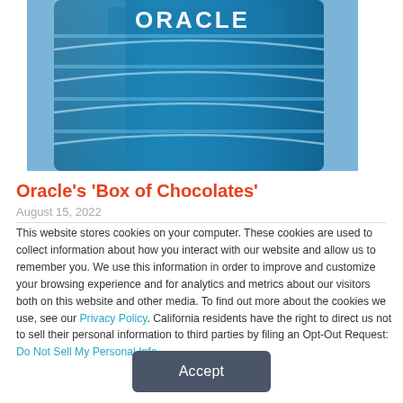[Figure (photo): Oracle corporate building with blue glass facade and Oracle logo sign at top]
Oracle's 'Box of Chocolates'
August 15, 2022
This website stores cookies on your computer. These cookies are used to collect information about how you interact with our website and allow us to remember you. We use this information in order to improve and customize your browsing experience and for analytics and metrics about our visitors both on this website and other media. To find out more about the cookies we use, see our Privacy Policy. California residents have the right to direct us not to sell their personal information to third parties by filing an Opt-Out Request: Do Not Sell My Personal Info.
Accept